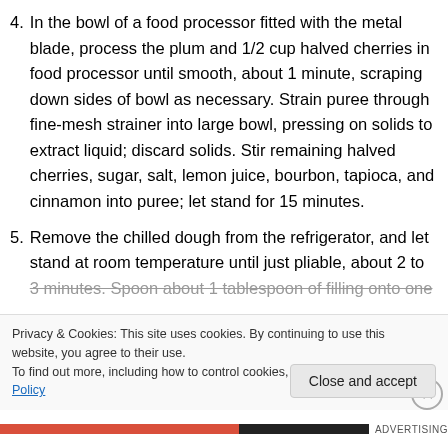4. In the bowl of a food processor fitted with the metal blade, process the plum and 1/2 cup halved cherries in food processor until smooth, about 1 minute, scraping down sides of bowl as necessary. Strain puree through fine-mesh strainer into large bowl, pressing on solids to extract liquid; discard solids. Stir remaining halved cherries, sugar, salt, lemon juice, bourbon, tapioca, and cinnamon into puree; let stand for 15 minutes.
5. Remove the chilled dough from the refrigerator, and let stand at room temperature until just pliable, about 2 to 3 minutes. Spoon about 1 tablespoon of filling onto one…
Privacy & Cookies: This site uses cookies. By continuing to use this website, you agree to their use. To find out more, including how to control cookies, see here: Cookie Policy